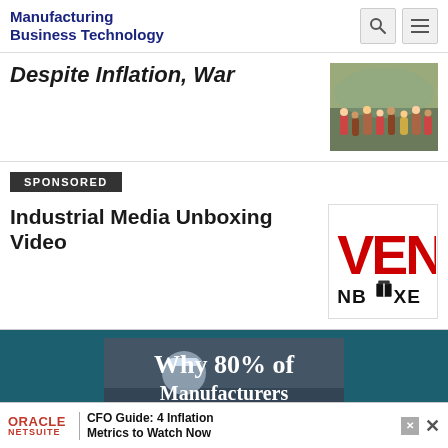Manufacturing Business Technology
Despite Inflation, War
[Figure (photo): Crowd of people outdoors]
SPONSORED
Industrial Media Unboxing Video
[Figure (logo): VENBOXE logo in red and black]
[Figure (photo): Why 80% of Manufacturers banner with worker in hard hat]
ORACLE NETSUITE | CFO Guide: 4 Inflation Metrics to Watch Now